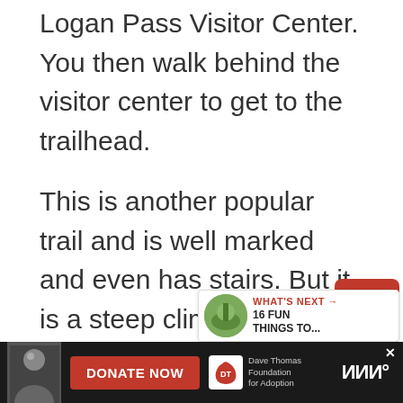Logan Pass Visitor Center. You then walk behind the visitor center to get to the trailhead.
This is another popular trail and is well marked and even has stairs. But it is a steep climb so be prepared for and take a little while. The views as you are walking on the trail are spectacular so be sure to stop and turn around
[Figure (screenshot): UI overlay with scroll-up/heart button (red), share button (white circle), and What's Next banner showing '16 FUN THINGS TO...' with a thumbnail image]
[Figure (infographic): Bottom ad bar with person photo, red DONATE NOW button, Dave Thomas Foundation for Adoption logo, and Tidal logo]